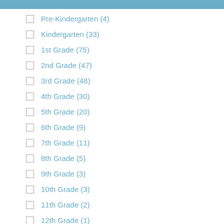Pre-Kindergarten (4)
Kindergarten (33)
1st Grade (75)
2nd Grade (47)
3rd Grade (48)
4th Grade (30)
5th Grade (20)
6th Grade (9)
7th Grade (11)
8th Grade (5)
9th Grade (3)
10th Grade (3)
11th Grade (2)
12th Grade (1)